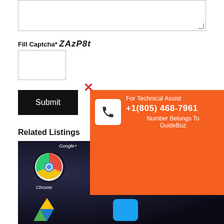[Textarea form field]
Fill Captcha* ZAzP8t
[Captcha input field]
Submit
[Figure (infographic): Orange popup overlay showing phone support info: 'For Technical Assist +1(805) 468-7961 Number Belongs To GuideBuz' with a white phone icon box and a red X close button.]
Related Listings
[Figure (photo): Screenshot of Android smartphone home screen showing app icons: Google+, Chrome, Facebook, Play Store, Gmail, Instagram, Google Drive, Twitter, and more on a dark background.]